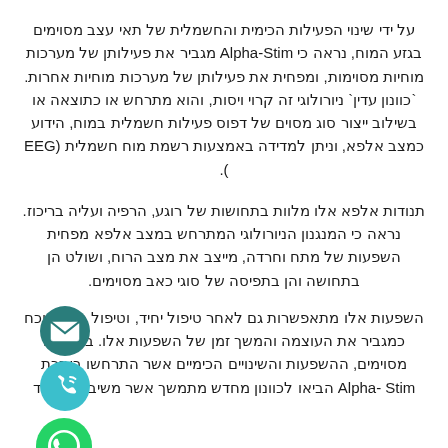על ידי שינוי הפעילות הכימית והחשמלית של תאי עצב מסוימים בגזע המוח, נראה כי Alpha-Stim מגביר את פעילותן של מערכות מוחיות מסוימות, ומפחית את פעילותן של מערכות מוחיות אחרות. `כוונון עדין` ניורולוגי זה קרוי ויסות, והוא מתרחש או כתוצאה או בשילוב ייצור סוג מסוים של דפוס פעילות חשמלית במוח, הידוע כמצב אלפא, וניתן למדידה באמצעות רשמת מוח חשמלית (EEG ).
תנודות אלפא אלו מלוות בתחושות של רוגע, הרפיה ועליה בריכוז. נראה כי המנגנון הניורולוגי המתרחש במצב אלפא מפחית השפעות של מתח וחרדה, מייצב את מצב הרוח, ושולט הן בתחושה והן בתפיסה של סוגי כאב מסוימים.
השפעות אלו מתאפשרות גם לאחר טיפול יחיד, וטיפול חוזר הוכח כמגביר את העוצמה והמשך זמן של השפעות אלו. במקרים מסוימים, ההשפעות והשינויים הכימיים אשר התרחשו בעזרת Alpha-Stim הביאו לכוונון מחדש מתמשך אשר משיב לתפקוד
[Figure (illustration): Three social media/contact icons on the left side: email envelope icon (dark teal), phone call icon (teal/cyan), and WhatsApp icon (green)]